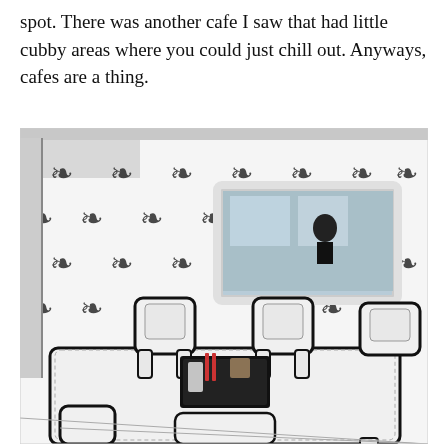spot. There was another cafe I saw that had little cubby areas where you could just chill out. Anyways, cafes are a thing.
[Figure (photo): Interior of a cafe decorated in a comic book / cartoon style. The walls are white with black damask floral patterns. A rectangular mirror with a white frame hangs on the wall reflecting a woman taking a selfie and windows. In the foreground are white ornate dining chairs and a white table with a tray holding condiments on a lace tablecloth. The furniture and decor are rendered with bold black outlines giving a 2D cartoon appearance.]